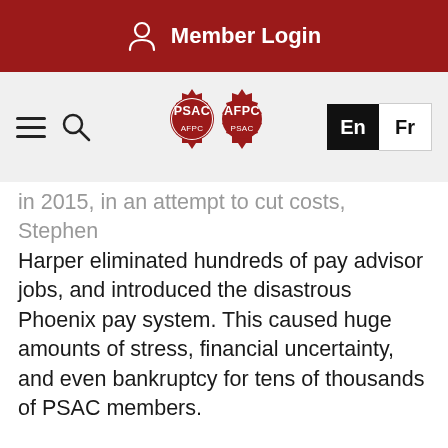Member Login
[Figure (logo): PSAC / AFPC interlocking gear logo in red and white, with hamburger menu, search icon, and language switcher (En / Fr)]
In 2015, in an attempt to cut costs, Stephen Harper eliminated hundreds of pay advisor jobs, and introduced the disastrous Phoenix pay system. This caused huge amounts of stress, financial uncertainty, and even bankruptcy for tens of thousands of PSAC members.
Deputy ministers were paid millions in bonuses to advance these and many other